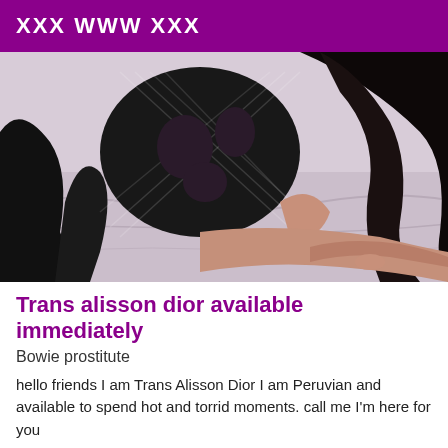XXX WWW XXX
[Figure (photo): A person in a black fishnet bodysuit posing on a bed with white/grey bedding, long dark hair visible on the right side.]
Trans alisson dior available immediately
Bowie prostitute
hello friends I am Trans Alisson Dior I am Peruvian and available to spend hot and torrid moments. call me I'm here for you